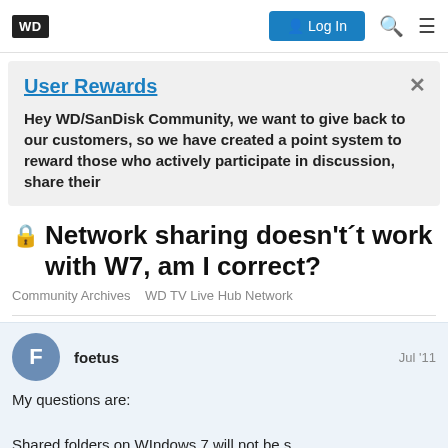WD | Log In
User Rewards
Hey WD/SanDisk Community, we want to give back to our customers, so we have created a point system to reward those who actively participate in discussion, share their
🔒 Network sharing doesn't´t work with W7, am I correct?
Community Archives   WD TV Live Hub Network
foetus   Jul '11
My questions are:
Shared folders on WIndows 7 will not be s
Sharing on WD TV Hub?   1 / 12